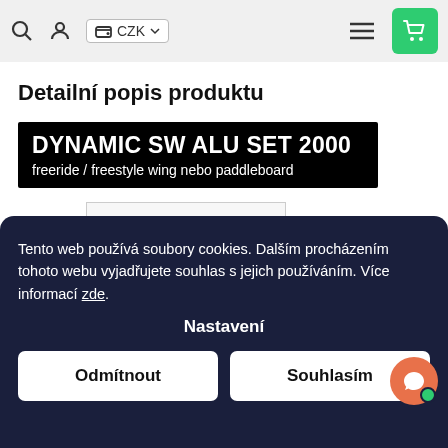CZK [navigation bar with search, user, currency, hamburger menu, cart]
Detailní popis produktu
DYNAMIC SW ALU SET 2000 freeride / freestyle wing nebo paddleboard
Tento web používá soubory cookies. Dalším procházením tohoto webu vyjadřujete souhlas s jejich používáním. Více informací zde.
Nastavení
Odmítnout
Souhlasím